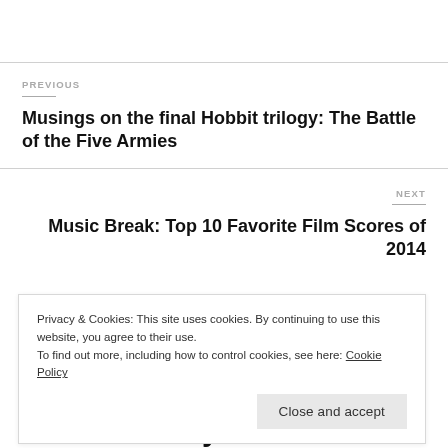PREVIOUS
Musings on the final Hobbit trilogy: The Battle of the Five Armies
NEXT
Music Break: Top 10 Favorite Film Scores of 2014
Privacy & Cookies: This site uses cookies. By continuing to use this website, you agree to their use.
To find out more, including how to control cookies, see here: Cookie Policy
Close and accept
Reasons Why Licence to